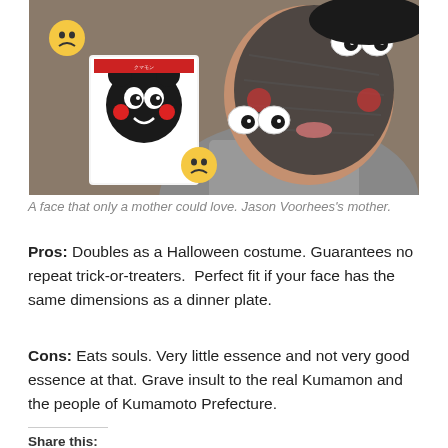[Figure (photo): Person wearing a Kumamon bear face mask, holding up the mask packaging. The face shows the dark gray mask with bear features. Emoji stickers (frowning face, googly eyes) are overlaid on the image.]
A face that only a mother could love. Jason Voorhees's mother.
Pros: Doubles as a Halloween costume. Guarantees no repeat trick-or-treaters.  Perfect fit if your face has the same dimensions as a dinner plate.
Cons: Eats souls. Very little essence and not very good essence at that. Grave insult to the real Kumamon and the people of Kumamoto Prefecture.
Share this: